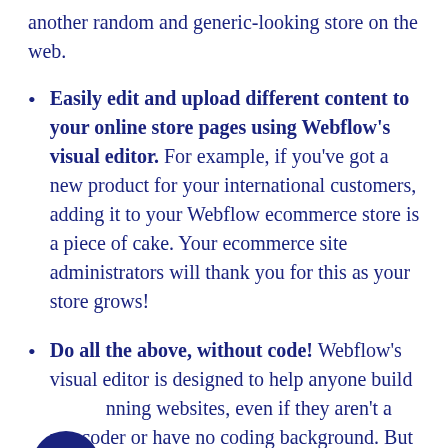another random and generic-looking store on the web.
Easily edit and upload different content to your online store pages using Webflow's visual editor. For example, if you've got a new product for your international customers, adding it to your Webflow ecommerce store is a piece of cake. Your ecommerce site administrators will thank you for this as your store grows!
Do all the above, without code! Webflow's visual editor is designed to help anyone build stunning websites, even if they aren't a pro coder or have no coding background. But if